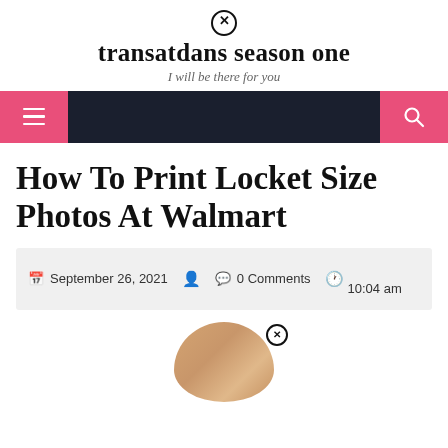transatdans season one — I will be there for you
[Figure (screenshot): Navigation bar with pink hamburger menu button on left and pink search button on right, dark navy background in center]
How To Print Locket Size Photos At Walmart
September 26, 2021  0 Comments  10:04 am
[Figure (photo): Partial view of a gold locket photo with a close/X icon overlay, shown at bottom of page]